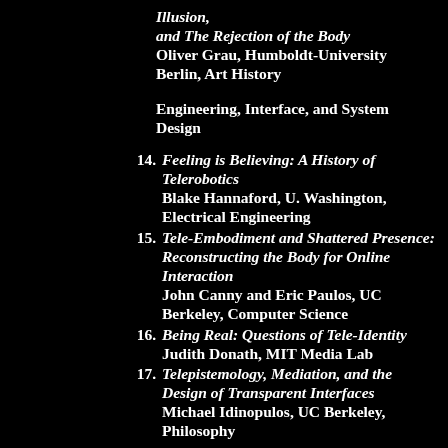Illusion, and The Rejection of the Body Oliver Grau, Humboldt-University Berlin, Art History
Engineering, Interface, and System Design
14. Feeling is Believing: A History of Telerobotics Blake Hannaford, U. Washington, Electrical Engineering
15. Tele-Embodiment and Shattered Presence: Reconstructing the Body for Online Interaction John Canny and Eric Paulos, UC Berkeley, Computer Science
16. Being Real: Questions of Tele-Identity Judith Donath, MIT Media Lab
17. Telepistemology, Mediation, and the Design of Transparent Interfaces Michael Idinopulos, UC Berkeley, Philosophy
Postscript